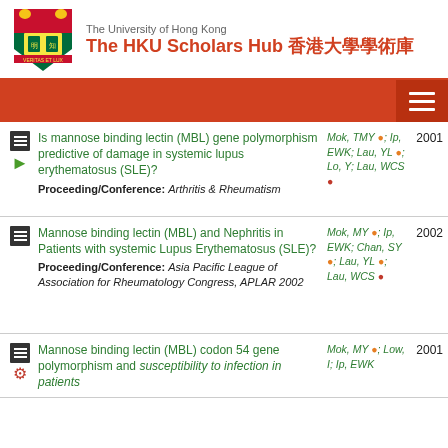The University of Hong Kong — The HKU Scholars Hub 香港大學學術庫
Is mannose binding lectin (MBL) gene polymorphism predictive of damage in systemic lupus erythematosus (SLE)? Proceeding/Conference: Arthritis & Rheumatism | Mok, TMY; Ip, EWK; Lau, YL; Lo, Y; Lau, WCS | 2001
Mannose binding lectin (MBL) and Nephritis in Patients with systemic Lupus Erythematosus (SLE)? Proceeding/Conference: Asia Pacific League of Association for Rheumatology Congress, APLAR 2002 | Mok, MY; Ip, EWK; Chan, SY; Lau, YL; Lau, WCS | 2002
Mannose binding lectin (MBL) codon 54 gene polymorphism and susceptibility to infection in patients... | Mok, MY; Low, I; Ip, EWK | 2001